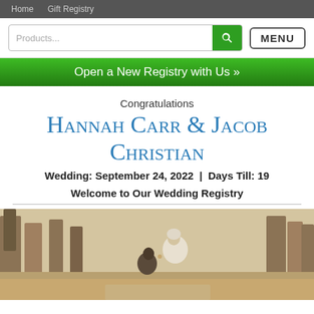Home   Gift Registry
Products...
Open a New Registry with Us »
Congratulations
Hannah Carr & Jacob Christian
Wedding: September 24, 2022  |  Days Till: 19
Welcome to Our Wedding Registry
[Figure (photo): Couple in an outdoor park setting; a man kneels proposing to a woman in white, surrounded by trees with bare/sparse foliage in warm tones.]